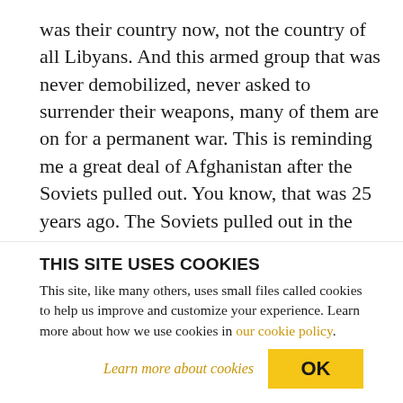was their country now, not the country of all Libyans. And this armed group that was never demobilized, never asked to surrender their weapons, many of them are on for a permanent war. This is reminding me a great deal of Afghanistan after the Soviets pulled out. You know, that was 25 years ago. The Soviets pulled out in the late 1980s, and the civil war broke out in Afghanistan that lasts really till today. Libya reminds me a great deal of Afghanistan. PERIES: Vijay, one of the things we learned from the New York Times editorial is that IS
THIS SITE USES COOKIES
This site, like many others, uses small files called cookies to help us improve and customize your experience. Learn more about how we use cookies in our cookie policy.
Learn more about cookies
OK